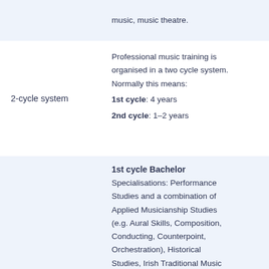music, music theatre.
2-cycle system
Professional music training is organised in a two cycle system. Normally this means:
1st cycle: 4 years
2nd cycle: 1–2 years
1st cycle Bachelor
Specialisations: Performance Studies and a combination of Applied Musicianship Studies (e.g. Aural Skills, Composition, Conducting, Counterpoint, Orchestration), Historical Studies, Irish Traditional Music